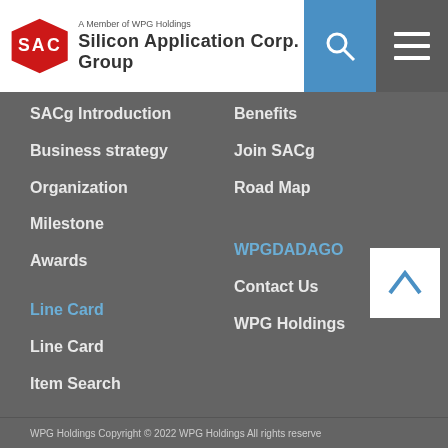[Figure (logo): Silicon Application Corp. Group logo with red SAC letters and WPG Holdings member text]
SACg Introduction
Business strategy
Organization
Milestone
Awards
Benefits
Join SACg
Road Map
Line Card
WPGDADAGO
Contact Us
WPG Holdings
Line Card
Item Search
WPG Holdings Copyright © 2022 WPG Holdings All rights reserve